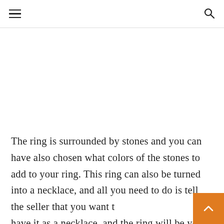☰  🔍
[Figure (other): White/blank image area below navigation header]
The ring is surrounded by stones and you can have also chosen what colors of the stones to add to your ring. This ring can also be turned into a necklace, and all you need to do is tell the seller that you want to have it as a necklace, and the ring will be your